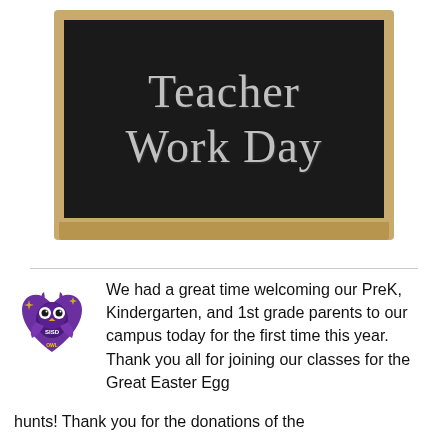[Figure (photo): A wooden-framed chalkboard with 'Teacher Work Day' written in white chalk handwriting on a black surface.]
[Figure (logo): Purple heart-shaped owl mascot logo for SISD (school district).]
We had a great time welcoming our PreK, Kindergarten, and 1st grade parents to our campus today for the first time this year. Thank you all for joining our classes for the Great Easter Egg hunts! Thank you for the donations of the